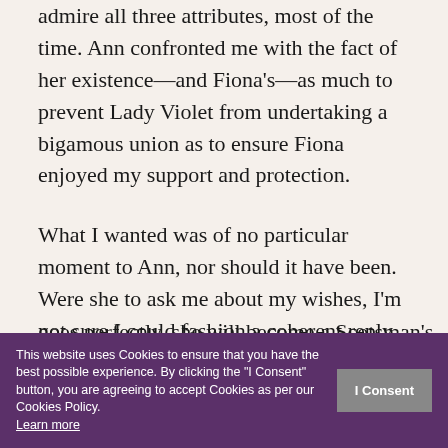admire all three attributes, most of the time. Ann confronted me with the fact of her existence—and Fiona's—as much to prevent Lady Violet from undertaking a bigamous union as to ensure Fiona enjoyed my support and protection.
What I wanted was of no particular moment to Ann, nor should it have been. Were she to ask me about my wishes, I'm not sure I could fashion a coherent reply in French or English, even now.
In her defense, Ann had no notion at the time she interrupted my wedding plans that Violet already [...]ld [...] all goes perfectly, she will become a Scotsman's
This website uses Cookies to ensure that you have the best possible experience. By clicking the "I Consent" button, you are agreeing to accept Cookies as per our Cookies Policy. Learn more